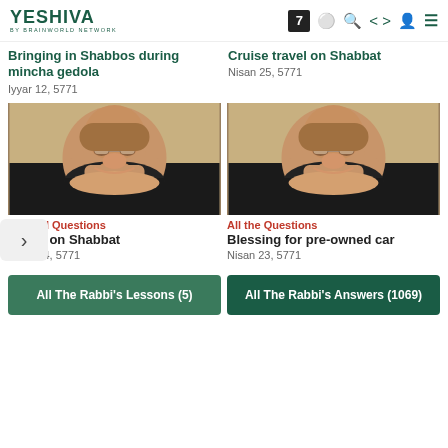YESHIVA - BY BRAINWORLD NETWORK
Bringing in Shabbos during mincha gedola
Iyyar 12, 5771
Cruise travel on Shabbat
Nisan 25, 5771
[Figure (photo): Rabbi portrait photo - man with beard and glasses smiling, left card]
[Figure (photo): Rabbi portrait photo - man with beard and glasses smiling, right card]
General Questions
Wallet on Shabbat
Apr II 24, 5771
All the Questions
Blessing for pre-owned car
Nisan 23, 5771
All The Rabbi's Lessons (5)
All The Rabbi's Answers (1069)